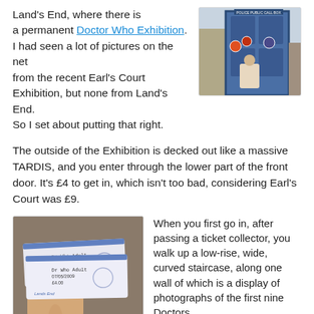Land's End, where there is a permanent Doctor Who Exhibition. I had seen a lot of pictures on the net from the recent Earl's Court Exhibition, but none from Land's End. So I set about putting that right.
[Figure (photo): Photo of a large blue TARDIS-style door/entrance to the Doctor Who Exhibition at Land's End]
The outside of the Exhibition is decked out like a massive TARDIS, and you enter through the lower part of the front door. It's £4 to get in, which isn't too bad, considering Earl's Court was £9.
[Figure (photo): Photo of two Doctor Who Adult tickets for Land's End dated 07/05/2009, £4.00 each, being held in a hand]
When you first go in, after passing a ticket collector, you walk up a low-rise, wide, curved staircase, along one wall of which is a display of photographs of the first nine Doctors. At the top of the stairs is a panel introducing "New Companions", but strangely not the tenth Doctor. I thought that a little odd.